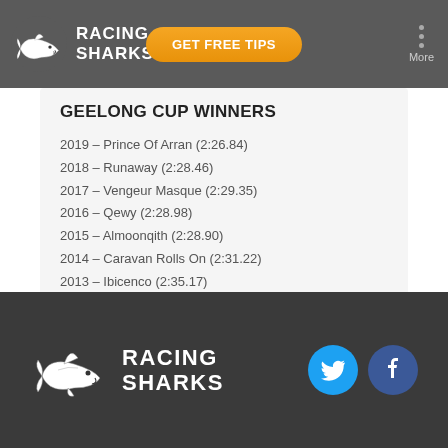Racing Sharks — GET FREE TIPS — More
GEELONG CUP WINNERS
2019 – Prince Of Arran (2:26.84)
2018 – Runaway (2:28.46)
2017 – Vengeur Masque (2:29.35)
2016 – Qewy (2:28.98)
2015 – Almoonqith (2:28.90)
2014 – Caravan Rolls On (2:31.22)
2013 – Ibicenco (2:35.17)
2012 – Gatewood (2:34.10)
2011 – Dunaden (2:30.14)
2010 – Americain (2:30.35) (2406m)
Racing Sharks logo with Twitter and Facebook social icons